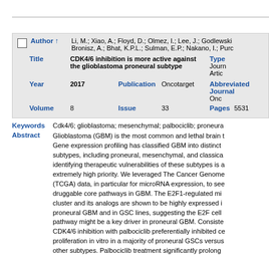| Field | Value |
| --- | --- |
| Author | Li, M.; Xiao, A.; Floyd, D.; Olmez, I.; Lee, J.; Godlewski, ...; Bronisz, A.; Bhat, K.P.L.; Sulman, E.P.; Nakano, I.; Purc... |
| Title | CDK4/6 inhibition is more active against the glioblastoma proneural subtype |
| Type | Journal Article |
| Year | 2017 |
| Publication | Oncotarget |
| Abbreviated Journal | Onco... |
| Volume | 8 |
| Issue | 33 |
| Pages | 5531... |
Keywords: Cdk4/6; glioblastoma; mesenchymal; palbociclib; proneura...
Abstract: Glioblastoma (GBM) is the most common and lethal brain t... Gene expression profiling has classified GBM into distinct subtypes, including proneural, mesenchymal, and classical. identifying therapeutic vulnerabilities of these subtypes is an extremely high priority. We leveraged The Cancer Genome (TCGA) data, in particular for microRNA expression, to see druggable core pathways in GBM. The E2F1-regulated mi... cluster and its analogs are shown to be highly expressed in proneural GBM and in GSC lines, suggesting the E2F cell pathway might be a key driver in proneural GBM. Consistent CDK4/6 inhibition with palbociclib preferentially inhibited cell proliferation in vitro in a majority of proneural GSCs versus other subtypes. Palbociclib treatment significantly prolong...